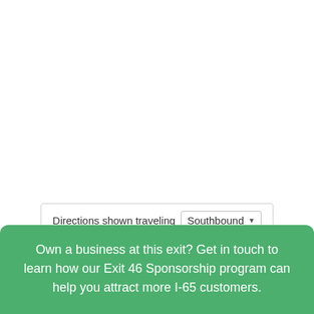Directions shown traveling Southbound ▾
Own a business at this exit? Get in touch to learn how our Exit 46 Sponsorship program can help you attract more I-65 customers.